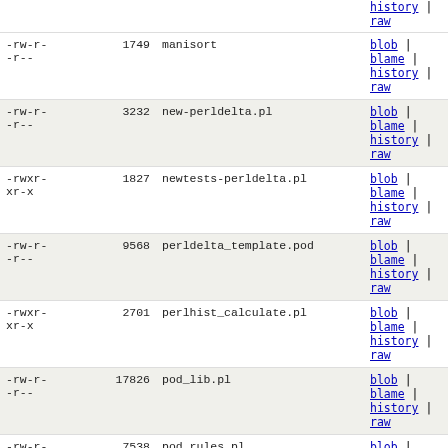| permissions | size | filename | links |
| --- | --- | --- | --- |
| -rw-r--r-- | 1749 | manisort | blob | blame | history | raw |
| -rw-r--r-- | 3232 | new-perldelta.pl | blob | blame | history | raw |
| -rwxr-xr-x | 1827 | newtests-perldelta.pl | blob | blame | history | raw |
| -rw-r--r-- | 9568 | perldelta_template.pod | blob | blame | history | raw |
| -rwxr-xr-x | 2701 | perlhist_calculate.pl | blob | blame | history | raw |
| -rw-r--r-- | 17826 | pod_lib.pl | blob | blame | history | raw |
| -rw-r--r-- | 7538 | pod_rules.pl | blob | blame | history | raw |
| -rw-r--r-- | 303 | podtidy | blob | blame | history | raw |
| -rw-r--r-- | 52512 | pumpkin.pod | blob | blame | history | raw |